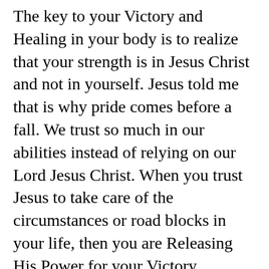The key to your Victory and Healing in your body is to realize that your strength is in Jesus Christ and not in yourself. Jesus told me that is why pride comes before a fall. We trust so much in our abilities instead of relying on our Lord Jesus Christ. When you trust Jesus to take care of the circumstances or road blocks in your life, then you are Releasing His Power for your Victory.
The only way to release Jesus's Power through you is you Trusting The Lord Jesus Christ with all your heart and mind to fulfill Jesus's Promises in His Word to you. The Greatest most Powerful Faith in all